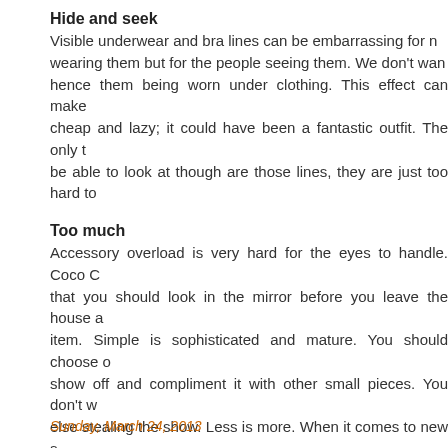Hide and seek
Visible underwear and bra lines can be embarrassing for not only the people wearing them but for the people seeing them. We don't want to see your underwear, hence them being worn under clothing. This effect can make an outfit look cheap and lazy; it could have been a fantastic outfit. The only thing you will be able to look at though are those lines, they are just too hard to ignore.
Too much
Accessory overload is very hard for the eyes to handle. Coco Chanel once said that you should look in the mirror before you leave the house and remove one item. Simple is sophisticated and mature. You should choose one piece you want to show off and compliment it with other small pieces. You don't want to have everything else stealing the show. Less is more. When it comes to new styles and trends, it can be difficult to achieve the look correctly. A lot more shops are trying to challenge this by including look books, for example www.genera... These show you how exactly to pull off the trend and show you what clothing items you'll need for the season. Don't be a fashion victim and take time to think about you're wearing.
admin at 2:44 PM
Sunday, March 24, 2013